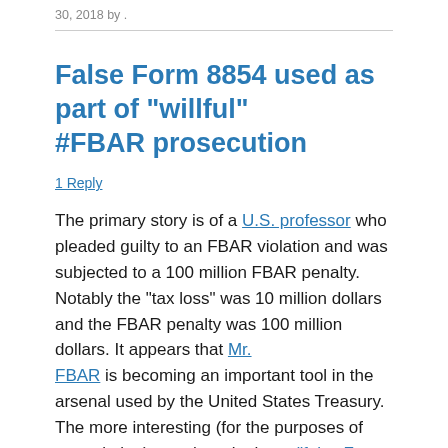30, 2018 by .
False Form 8854 used as part of "willful" #FBAR prosecution
1 Reply
The primary story is of a U.S. professor who pleaded guilty to an FBAR violation and was subjected to a 100 million FBAR penalty. Notably the “tax loss” was 10 million dollars and the FBAR penalty was 100 million dollars. It appears that Mr. FBAR is becoming an important tool in the arsenal used by the United States Treasury. The more interesting (for the purposes of expatriation) was the role that a “false Form 8854 “Expatriation Statement”) may have played in the guilty plea.